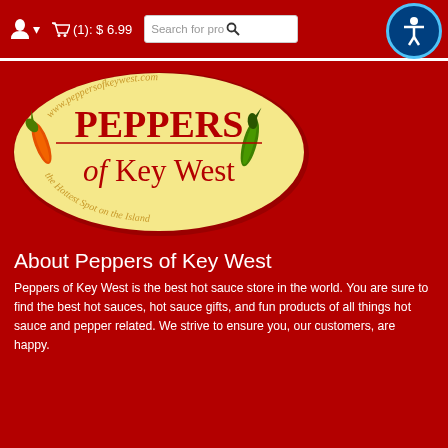user icon  (1): $ 6.99  Search for pro  accessibility button
[Figure (logo): Peppers of Key West logo: oval yellow background with red text 'PEPPERS of Key West', curved text 'www.peppersofkeywest.com' at top and 'the Hottest Spot on the Island' at bottom, with red and green chili peppers on sides]
About Peppers of Key West
Peppers of Key West is the best hot sauce store in the world. You are sure to find the best hot sauces, hot sauce gifts, and fun products of all things hot sauce and pepper related. We strive to ensure you, our customers, are happy.